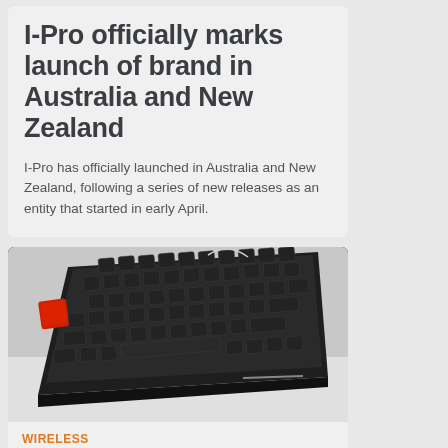I-Pro officially marks launch of brand in Australia and New Zealand
I-Pro has officially launched in Australia and New Zealand, following a series of new releases as an entity that started in early April.
[Figure (photo): Close-up photo of a mechanical keyboard with black keycaps and a red Escape key, angled view on white surface]
WIRELESS
Hands on review...